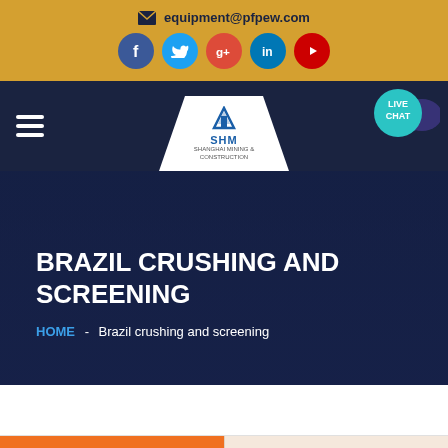equipment@pfpew.com
[Figure (infographic): Social media icons: Facebook (blue), Twitter (light blue), Google+ (red), LinkedIn (blue), YouTube (red) in circular buttons]
[Figure (logo): SHM logo in white trapezoid shape on dark navy navigation bar with hamburger menu and LIVE CHAT bubble]
BRAZIL CRUSHING AND SCREENING
HOME - Brazil crushing and screening
Get a Quote
WhatsApp